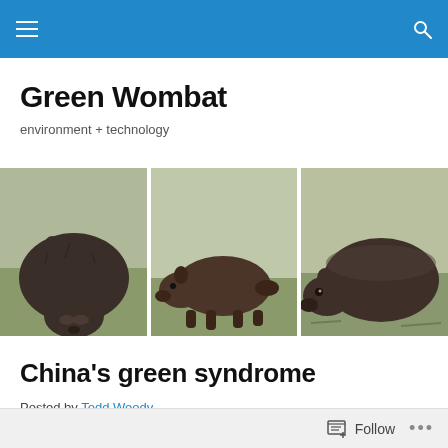Green Wombat — navigation bar
Green Wombat
environment + technology
[Figure (photo): Three side-by-side photographs of wombats grazing on grass in an open field. Left: wombat facing camera, head down. Center: wombat walking in profile. Right: wombat grazing, facing left.]
China's green syndrome
Posted by Todd Woody
Follow  •••